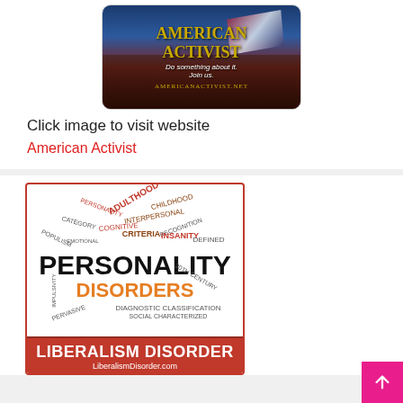[Figure (photo): American Activist website banner image showing a stadium crowd with an American flag and gold text reading 'American Activist - Do something about it. Join us.' with AmericanActivist.net URL at the bottom]
Click image to visit website
American Activist
[Figure (illustration): Personality Disorders word cloud image with large text reading 'PERSONALITY DISORDERS' in black and orange, surrounded by psychology terms like Adulthood, Childhood, Interpersonal, Category, Criteria, Insanity, Defined, Social, Characterized, etc. A red-bordered box at the bottom reads 'LIBERALISM DISORDER' and 'LiberalismDisorder.com']